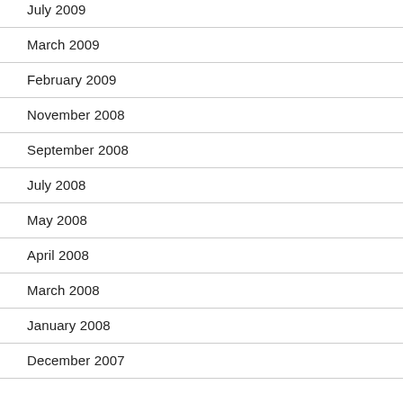July 2009
March 2009
February 2009
November 2008
September 2008
July 2008
May 2008
April 2008
March 2008
January 2008
December 2007